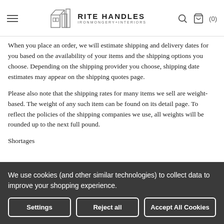RITE HANDLES IRONMONGERY+INTERIORS
When you place an order, we will estimate shipping and delivery dates for you based on the availability of your items and the shipping options you choose. Depending on the shipping provider you choose, shipping date estimates may appear on the shipping quotes page.
Please also note that the shipping rates for many items we sell are weight-based. The weight of any such item can be found on its detail page. To reflect the policies of the shipping companies we use, all weights will be rounded up to the next full pound.
Shortages
We use cookies (and other similar technologies) to collect data to improve your shopping experience.